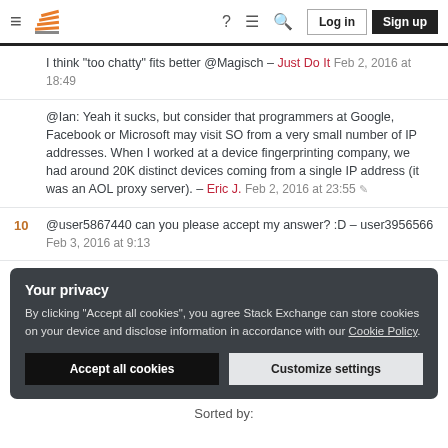Stack Overflow navigation bar with Log in and Sign up buttons
I think "too chatty" fits better @Magisch – Just Do It  Feb 2, 2016 at 18:49
@Ian: Yeah it sucks, but consider that programmers at Google, Facebook or Microsoft may visit SO from a very small number of IP addresses. When I worked at a device fingerprinting company, we had around 20K distinct devices coming from a single IP address (it was an AOL proxy server). – Eric J. Feb 2, 2016 at 23:55
10 @user5867440 can you please accept my answer? :D – user3956566 Feb 3, 2016 at 9:13
Your privacy
By clicking "Accept all cookies", you agree Stack Exchange can store cookies on your device and disclose information in accordance with our Cookie Policy.
Accept all cookies   Customize settings
Sorted by: